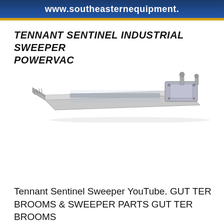www.southeasternequipment.
TENNANT SENTINEL INDUSTRIAL SWEEPER POWERVAC
[Figure (illustration): Technical illustration of the Tennant Sentinel Industrial Sweeper PowerVac unit, showing a low-profile mechanical sweeper with broom assemblies and vacuum components, viewed from a perspective angle.]
Tennant Sentinel Sweeper YouTube. GUT TER BROOMS & SWEEPER PARTS GUT TER BROOMS